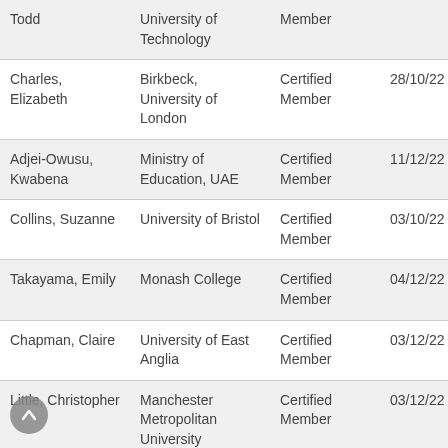| Name | Institution | Type | Date | Num | End |
| --- | --- | --- | --- | --- | --- |
| Todd | University of Technology | Member | 11/01/22 | 424 | 11/... |
| Charles, Elizabeth | Birkbeck, University of London | Certified Member | 28/10/22 | 300 | 11/ |
| Adjei-Owusu, Kwabena | Ministry of Education, UAE | Certified Member | 11/12/22 | 482 | 11/ |
| Collins, Suzanne | University of Bristol | Certified Member | 03/10/22 |  | 06/ |
| Takayama, Emily | Monash College | Certified Member | 04/12/22 | 475 | 04/ |
| Chapman, Claire | University of East Anglia | Certified Member | 03/12/22 | 471 | 03/ |
| Little, Christopher | Manchester Metropolitan University | Certified Member | 03/12/22 | 472 | 03/ |